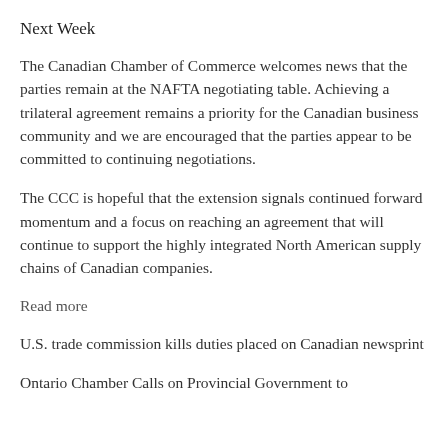Next Week
The Canadian Chamber of Commerce welcomes news that the parties remain at the NAFTA negotiating table. Achieving a trilateral agreement remains a priority for the Canadian business community and we are encouraged that the parties appear to be committed to continuing negotiations.
The CCC is hopeful that the extension signals continued forward momentum and a focus on reaching an agreement that will continue to support the highly integrated North American supply chains of Canadian companies.
Read more
U.S. trade commission kills duties placed on Canadian newsprint
Ontario Chamber Calls on Provincial Government to